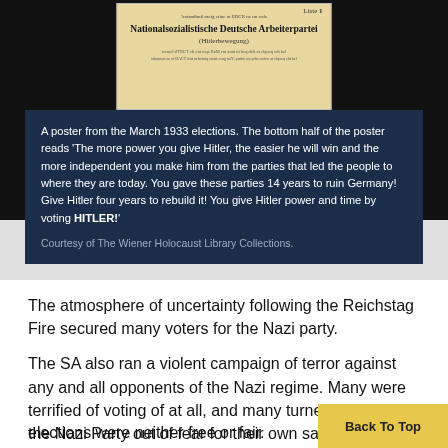[Figure (photo): A historical German election poster from March 1933 for the Nationalsozialistische Deutsche Arbeiterpartei (Hitlerbewegung), displayed on a dark/black background.]
A poster from the March 1933 elections. The bottom half of the poster reads 'The more power you give Hitler, the easier he will win and the more independent you make him from the parties that led the people to where they are today. You gave these parties 14 years to ruin Germany! Give Hitler four years to rebuild it! You give Hitler power and time by voting HITLER!' Courtesy of The Wiener Holocaust Library Collections.
The atmosphere of uncertainty following the Reichstag Fire secured many voters for the Nazi party.
The SA also ran a violent campaign of terror against any and all opponents of the Nazi regime. Many were terrified of voting of at all, and many turned to voting for the Nazi Party out of fear for their own safety. The elections were neither free or fair.